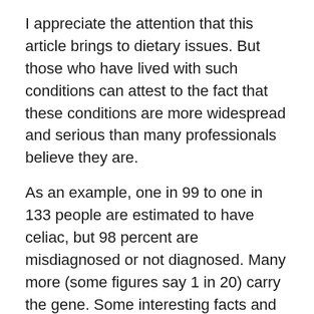I appreciate the attention that this article brings to dietary issues. But those who have lived with such conditions can attest to the fact that these conditions are more widespread and serious than many professionals believe they are.
As an example, one in 99 to one in 133 people are estimated to have celiac, but 98 percent are misdiagnosed or not diagnosed. Many more (some figures say 1 in 20) carry the gene. Some interesting facts and figures are at http://www.celiacdisease.net/assets/pdf/CDCFactSheets%20FactsFigures%20v3.pdf.
Some of my personal experiences are on my blog, including this piece: https://wildninja.wordpress.com/2010/04/14/from-the-gut/. Thank you for the opportunity to comment.